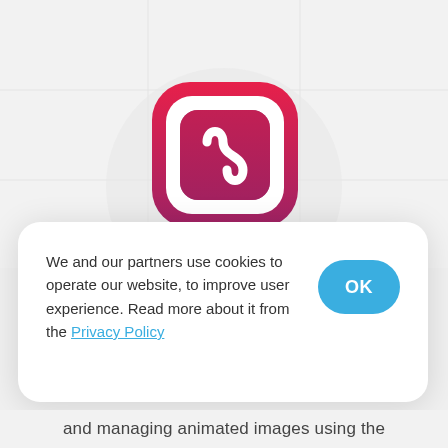[Figure (logo): App icon/logo: rounded square with red-to-purple gradient background, white rounded square border inside, dark inner rounded square with a white stylized S-curve/slash symbol.]
We and our partners use cookies to operate our website, to improve user experience. Read more about it from the Privacy Policy
OK
and managing animated images using the